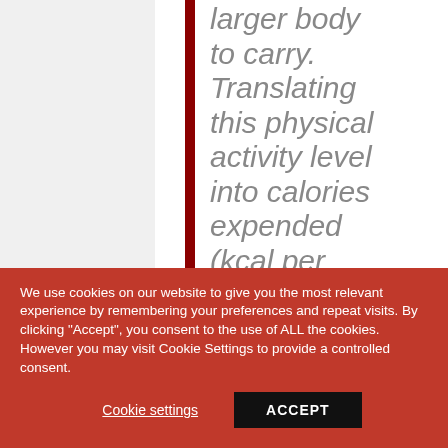larger body to carry. Translating this physical activity level into calories expended (kcal per day) would likely show that obese boys
We use cookies on our website to give you the most relevant experience by remembering your preferences and repeat visits. By clicking "Accept", you consent to the use of ALL the cookies. However you may visit Cookie Settings to provide a controlled consent.